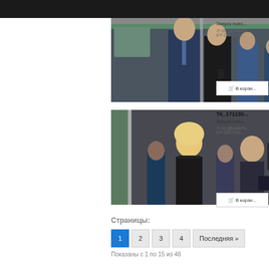[Figure (photo): Photo of people in subway train car, man in suit and woman in black]
Запуск поез...
01 ДЕКАБРЬ
# Р-2017120...
В корзи...
[Figure (photo): Photo of people in subway station, blonde woman looking up, older man in suit]
ТК_171130...
Запуск поез...
01 ДЕКАБРЬ
# Р-2017120...
В корзи...
Страницы:
1  2  3  4  Последняя »
Показаны с 1 по 15 из 48